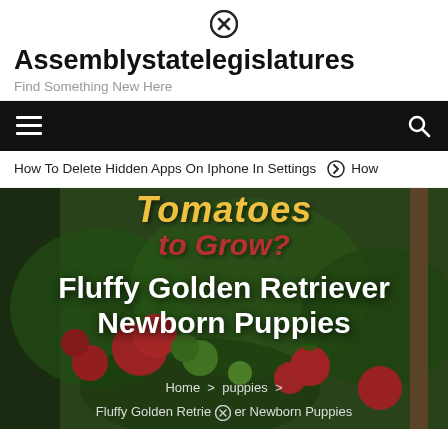Assemblystatelegislatures
Find Something New Here
[Figure (screenshot): Black navigation bar with hamburger menu icon on left and search icon on right]
How To Delete Hidden Apps On Iphone In Settings ❯ How
[Figure (photo): Hero image with tomato garden background. Overlay text reads 'Tomatoes to Grow?' and main bold white title 'Fluffy Golden Retriever Newborn Puppies'. Breadcrumb: Home > puppies > Fluffy Golden Retriever Newborn Puppies]
Fluffy Golden Retriever Newborn Puppies
Home > puppies > Fluffy Golden Retriever Newborn Puppies